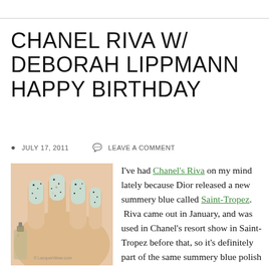CHANEL RIVA W/ DEBORAH LIPPMANN HAPPY BIRTHDAY
JULY 17, 2011   LEAVE A COMMENT
[Figure (photo): Close-up photo of hand with nails painted in a light blue/mint speckled glitter nail polish, with watermark LacquerWear.com]
Chanel Riva, Lippmann Happy Birthday
I've had Chanel's Riva on my mind lately because Dior released a new summery blue called Saint-Tropez. Riva came out in January, and was used in Chanel's resort show in Saint-Tropez before that, so it's definitely part of the same summery blue polish space.